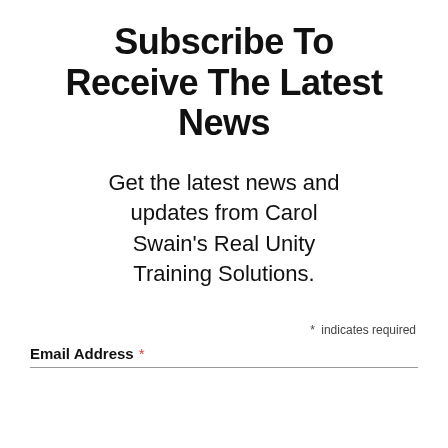Subscribe To Receive The Latest News
Get the latest news and updates from Carol Swain's Real Unity Training Solutions.
* indicates required
Email Address *